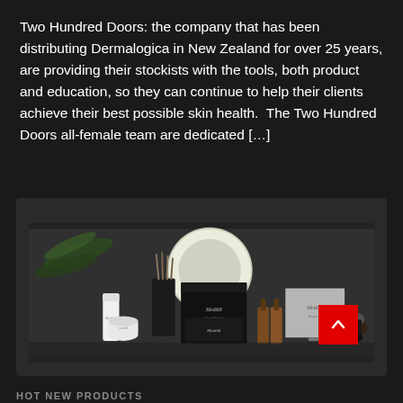Two Hundred Doors: the company that has been distributing Dermalogica in New Zealand for over 25 years, are providing their stockists with the tools, both product and education, so they can continue to help their clients achieve their best possible skin health.  The Two Hundred Doors all-female team are dedicated […]
[Figure (photo): A styled flat-lay photograph of luxury skincare and grooming products (Medik8 branded black boxes, amber glass dropper bottles, white cream tube, candle jar, and a shaving brush) arranged on a dark surface with a circular mirror and fern leaves in the background.]
HOT NEW PRODUCTS